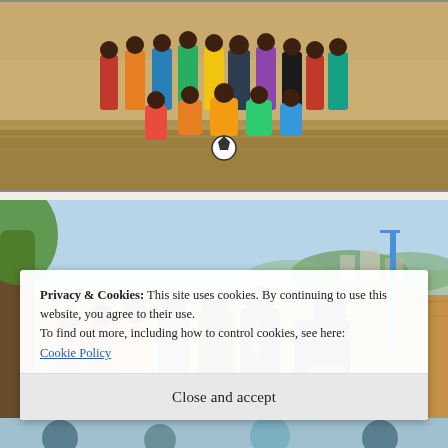[Figure (photo): Group of young men in colorful sports attire posing on a dry grass football field]
[Figure (photo): Group of young men sitting and resting under a tree on a dirt area near a football pitch]
Privacy & Cookies: This site uses cookies. By continuing to use this website, you agree to their use.
To find out more, including how to control cookies, see here:
Cookie Policy
Close and accept
[Figure (photo): Partial view of persons at the bottom of the page, partially obscured by cookie banner]